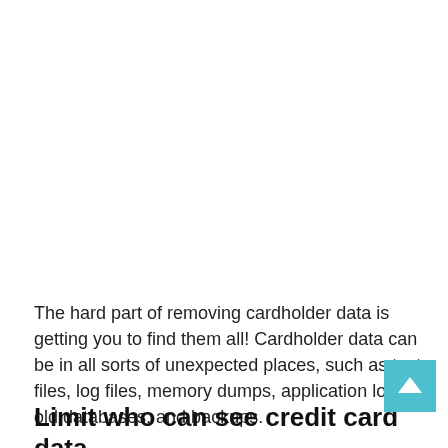The hard part of removing cardholder data is getting you to find them all! Cardholder data can be in all sorts of unexpected places, such as text files, log files, memory dumps, application logs, old databases, and backups.
Limit who can see credit card data